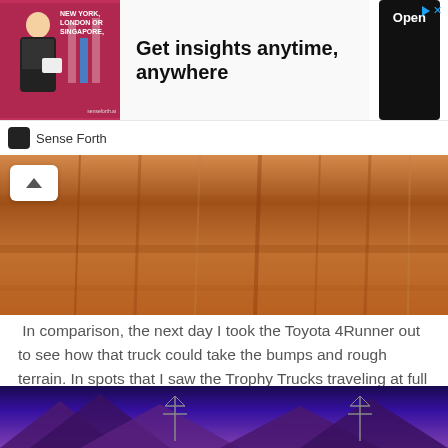[Figure (screenshot): Advertisement banner: New York, London or Singapore - Get insights anytime, anywhere. Open button. Sense Forth brand logo.]
[Figure (photo): Close-up photo of sandy/dirt terrain with rough texture, showing tracks or grooves in the soil. A scroll-up button overlays the top left.]
In comparison, the next day I took the Toyota 4Runner out to see how that truck could take the bumps and rough terrain. In spots that I saw the Trophy Trucks traveling at full speed, it was uncomfortable to travel above 30 mph.
This is a huge testament to not just the incredible tires but also the suspension that these trucks have.
[Figure (photo): Dusk photo of mountain silhouettes with blue and purple sky, power line towers visible on the horizon.]